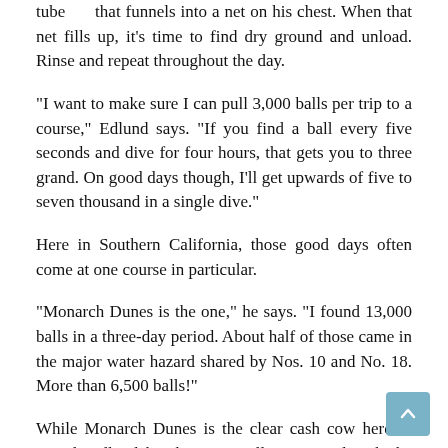tube that funnels into a net on his chest. When that net fills up, it's time to find dry ground and unload. Rinse and repeat throughout the day.
“I want to make sure I can pull 3,000 balls per trip to a course,” Edlund says. “If you find a ball every five seconds and dive for four hours, that gets you to three grand. On good days though, I’ll get upwards of five to seven thousand in a single dive.”
Here in Southern California, those good days often come at one course in particular.
“Monarch Dunes is the one,” he says. “I found 13,000 balls in a three-day period. About half of those came in the major water hazard shared by Nos. 10 and No. 18. More than 6,500 balls!”
While Monarch Dunes is the clear cash cow here in SoCal, Edlund has become well acquainted with the gloomy depths of many area water hazards.